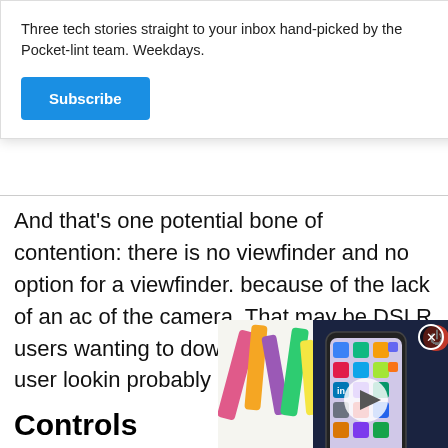Three tech stories straight to your inbox hand-picked by the Pocket-lint team. Weekdays.
Subscribe
And that's one potential bone of contention: there is no viewfinder and no option for a viewfinder. because of the lack of an ac of the camera. That may be DSLR users wanting to dow compact camera user lookin probably isn't an issue.
[Figure (screenshot): Video thumbnail overlay showing a smartphone screen with app icons, with a play button in the center and a close (X) button in the top right]
Controls